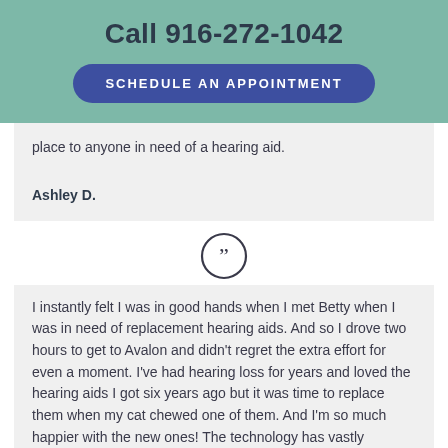Call 916-272-1042
SCHEDULE AN APPOINTMENT
place to anyone in need of a hearing aid.
Ashley D.
[Figure (illustration): Closing double quotation mark icon inside a circle]
I instantly felt I was in good hands when I met Betty when I was in need of replacement hearing aids. And so I drove two hours to get to Avalon and didn't regret the extra effort for even a moment. I've had hearing loss for years and loved the hearing aids I got six years ago but it was time to replace them when my cat chewed one of them. And I'm so much happier with the new ones! The technology has vastly improved but also Betty's exam was so thorough. I learned things about my hearing I'd not